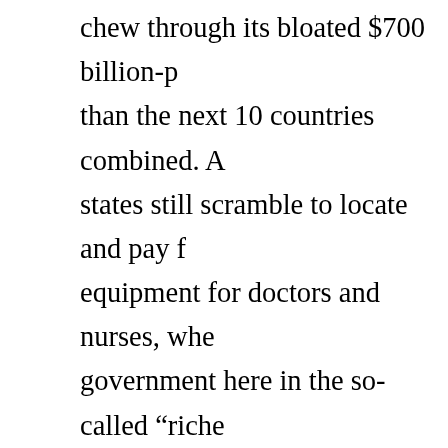chew through its bloated $700 billion-p than the next 10 countries combined. A states still scramble to locate and pay f equipment for doctors and nurses, whe government here in the so-called “riche world” is trying to square the circle of and radically diminished revenues, the war machine grinds on, fighting its fore extending its intimidating presence into A quarter-million American troops and now deployed in at least 177 countries